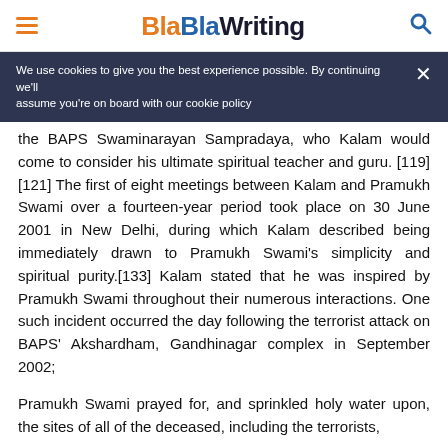BlaBlaWriting
We use cookies to give you the best experience possible. By continuing we'll assume you're on board with our cookie policy
the BAPS Swaminarayan Sampradaya, who Kalam would come to consider his ultimate spiritual teacher and guru. [119][121] The first of eight meetings between Kalam and Pramukh Swami over a fourteen-year period took place on 30 June 2001 in New Delhi, during which Kalam described being immediately drawn to Pramukh Swami's simplicity and spiritual purity.[133] Kalam stated that he was inspired by Pramukh Swami throughout their numerous interactions. One such incident occurred the day following the terrorist attack on BAPS' Akshardham, Gandhinagar complex in September 2002;
Pramukh Swami prayed for, and sprinkled holy water upon, the sites of all of the deceased, including the terrorists,